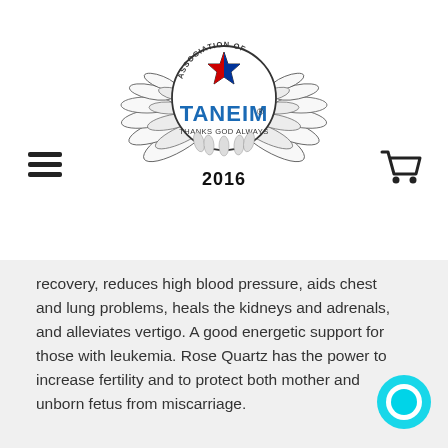[Figure (logo): TANEIM Association logo with wings, star, text 'ASSOCIATION OF TANEIM® THANKS GOD ALWAYS 2016']
recovery, reduces high blood pressure, aids chest and lung problems, heals the kidneys and adrenals, and alleviates vertigo. A good energetic support for those with leukemia. Rose Quartz has the power to increase fertility and to protect both mother and unborn fetus from miscarriage.